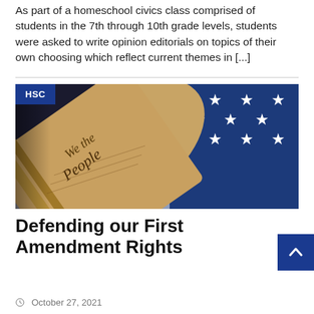As part of a homeschool civics class comprised of students in the 7th through 10th grade levels, students were asked to write opinion editorials on topics of their own choosing which reflect current themes in [...]
[Figure (photo): Photo of a rolled U.S. Constitution document with 'We the People' visible in calligraphy script, resting against a folded American flag showing white stars on blue field.]
Defending our First Amendment Rights
October 27, 2021